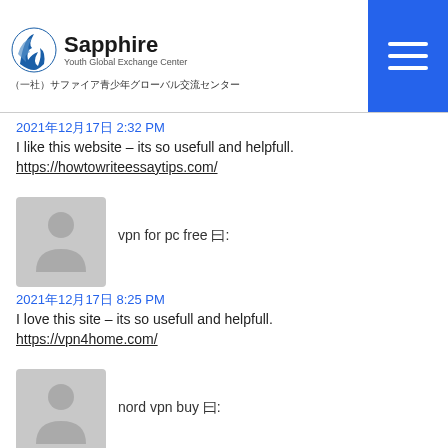Sapphire Youth Global Exchange Center / （一社）サファイア青少年グローバル交流センター
2021年12月17日 2:32 PM
I like this website – its so usefull and helpfull.
https://howtowriteessaytips.com/
vpn for pc free 曰:
2021年12月17日 8:25 PM
I love this site – its so usefull and helpfull.
https://vpn4home.com/
nord vpn buy 曰:
2021年12月18日 7:32 AM
Thanks for sharing this fantastic web page.